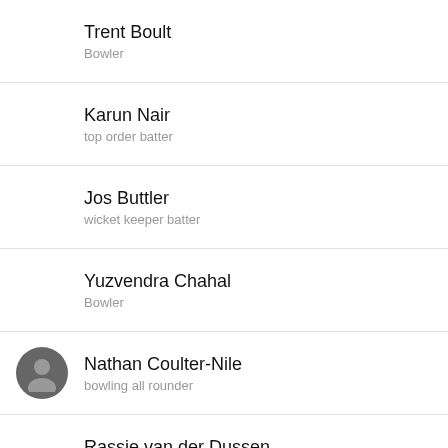Trent Boult
Bowler
Karun Nair
top order batter
Jos Buttler
wicket keeper batter
Yuzvendra Chahal
Bowler
Nathan Coulter-Nile
bowling all rounder
Rassie van der Dussen
top order batter
Daryl Mitchell